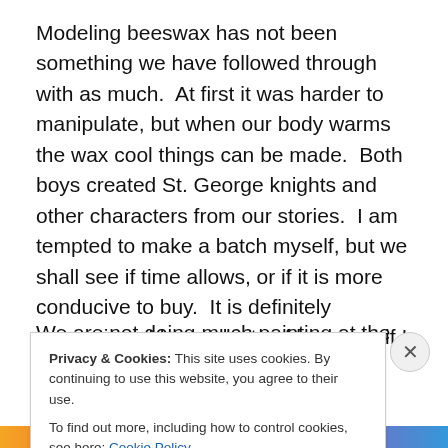Modeling beeswax has not been something we have followed through with as much.  At first it was harder to manipulate, but when our body warms the wax cool things can be made.  Both boys created St. George knights and other characters from our stories.  I am tempted to make a batch myself, but we shall see if time allows, or if it is more conducive to buy.  It is definitely expensive.  I have plenty of beeswax if I can make the time though.
We are not doing much painting at the moment.  Earlier in
Privacy & Cookies: This site uses cookies. By continuing to use this website, you agree to their use.
To find out more, including how to control cookies, see here: Cookie Policy